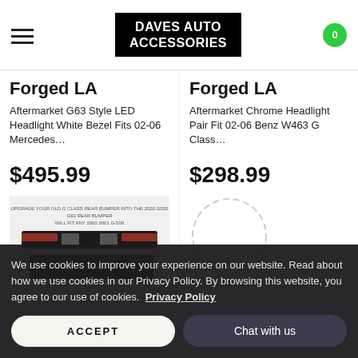DAVES AUTO ACCESSORIES
Forged LA
Aftermarket G63 Style LED Headlight White Bezel Fits 02-06 Mercedes…
$495.99
[Figure (photo): Product image of a G-Class rear bumper upgrade kit showing bumper pieces with text: UPGRADE YOUR OLD G CLASS REAR BUMPER INTO THE 2020 G550 G63 REAR BUMPER. WILL FIT ANY 2000 2001 G-500]
Forged LA
Aftermarket Chrome Headlight Pair Fit 02-06 Benz W463 G Class…
$298.99
[Figure (photo): Partially visible circular product image placeholder on right column]
We use cookies to improve your experience on our website. Read about how we use cookies in our Privacy Policy. By browsing this website, you agree to our use of cookies.  Privacy Policy
ACCEPT
Chat with us
ADD TO CART
ADD TO CART